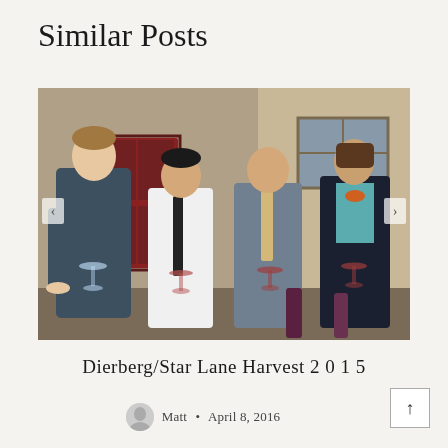Similar Posts
[Figure (photo): Four men standing outdoors in front of a building with red doors, each holding a wine glass. The tallest man on the left wears a dark zip-up sweater and grey pants. The second man wears a white dress shirt with a black tie. The third man wears a grey suit with a gold/tan tie. The fourth man on the right wears a dark suit with a teal shirt and orange bow tie. Wine bottles visible at the bottom.]
Dierberg/Star Lane Harvest 2015
Matt • April 8, 2016